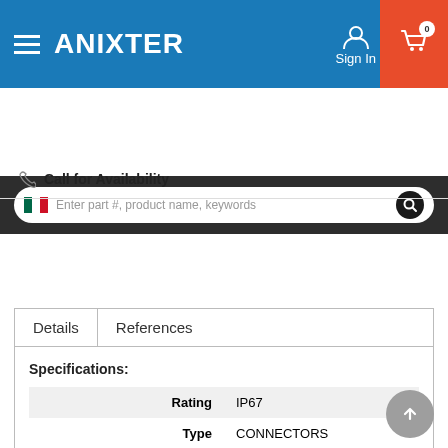[Figure (screenshot): Anixter website header with logo, sign in, and cart]
[Figure (screenshot): Search bar with Mexican flag icon and search input]
Call for Availability
| Key | Value |
| --- | --- |
| Rating | IP67 |
| Type | CONNECTORS |
Specifications: